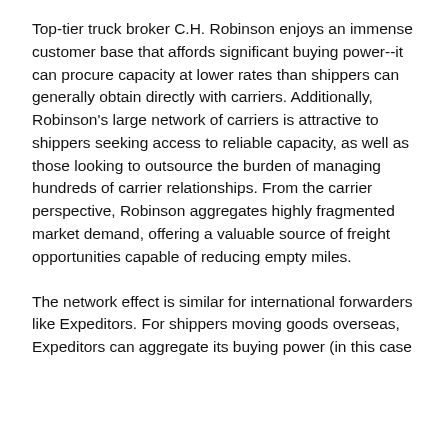Top-tier truck broker C.H. Robinson enjoys an immense customer base that affords significant buying power--it can procure capacity at lower rates than shippers can generally obtain directly with carriers. Additionally, Robinson's large network of carriers is attractive to shippers seeking access to reliable capacity, as well as those looking to outsource the burden of managing hundreds of carrier relationships. From the carrier perspective, Robinson aggregates highly fragmented market demand, offering a valuable source of freight opportunities capable of reducing empty miles.
The network effect is similar for international forwarders like Expeditors. For shippers moving goods overseas, Expeditors can aggregate its buying power (in this case